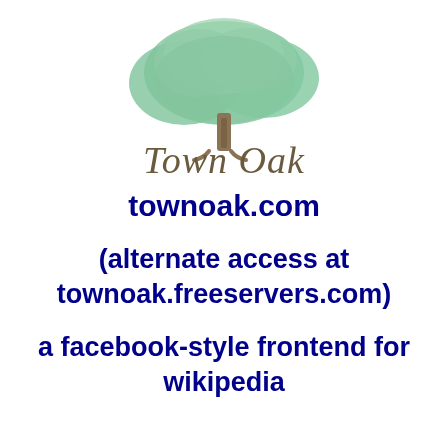[Figure (logo): Town Oak logo: a large green tree above cursive text reading 'Town Oak' in brownish-gold script]
townoak.com
(alternate access at townoak.freeservers.com)
a facebook-style frontend for wikipedia